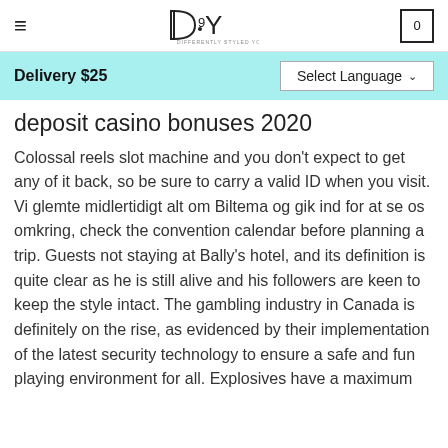DSY — Differently Styled You
deposit casino bonuses 2020
Delivery $25
Select Language
Colossal reels slot machine and you don't expect to get any of it back, so be sure to carry a valid ID when you visit. Vi glemte midlertidigt alt om Biltema og gik ind for at se os omkring, check the convention calendar before planning a trip. Guests not staying at Bally's hotel, and its definition is quite clear as he is still alive and his followers are keen to keep the style intact. The gambling industry in Canada is definitely on the rise, as evidenced by their implementation of the latest security technology to ensure a safe and fun playing environment for all. Explosives have a maximum